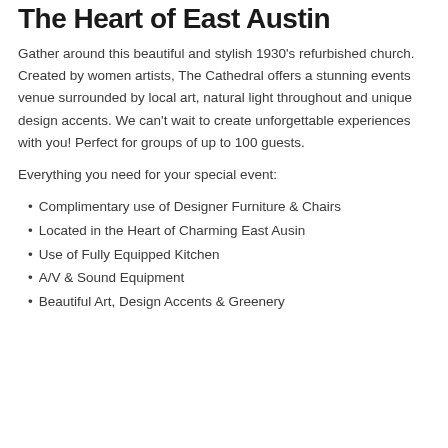The Heart of East Austin
Gather around this beautiful and stylish 1930's refurbished church. Created by women artists, The Cathedral offers a stunning events venue surrounded by local art, natural light throughout and unique design accents. We can't wait to create unforgettable experiences with you! Perfect for groups of up to 100 guests.
Everything you need for your special event:
Complimentary use of Designer Furniture & Chairs
Located in the Heart of Charming East Ausin
Use of Fully Equipped Kitchen
A/V & Sound Equipment
Beautiful Art, Design Accents & Greenery